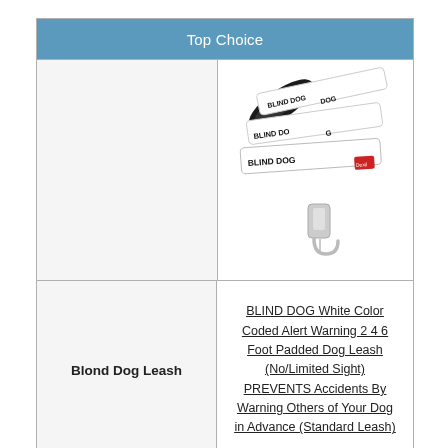Top Choice
[Figure (photo): White dog leash with 'BLIND DOG' printed multiple times in black text, with a black padded handle and silver clip/hook at the end.]
Blond Dog Leash
BLIND DOG White Color Coded Alert Warning 2 4 6 Foot Padded Dog Leash (No/Limited Sight) PREVENTS Accidents By Warning Others of Your Dog in Advance (Standard Leash)